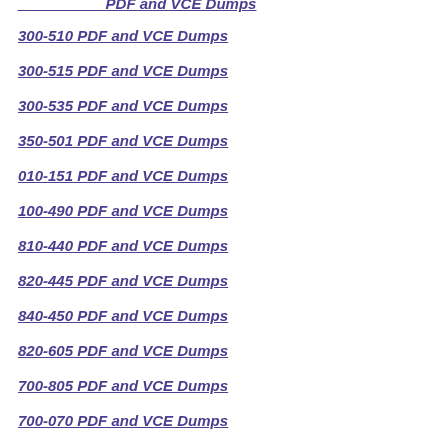300-510 PDF and VCE Dumps
300-515 PDF and VCE Dumps
300-535 PDF and VCE Dumps
350-501 PDF and VCE Dumps
010-151 PDF and VCE Dumps
100-490 PDF and VCE Dumps
810-440 PDF and VCE Dumps
820-445 PDF and VCE Dumps
840-450 PDF and VCE Dumps
820-605 PDF and VCE Dumps
700-805 PDF and VCE Dumps
700-070 PDF and VCE Dumps